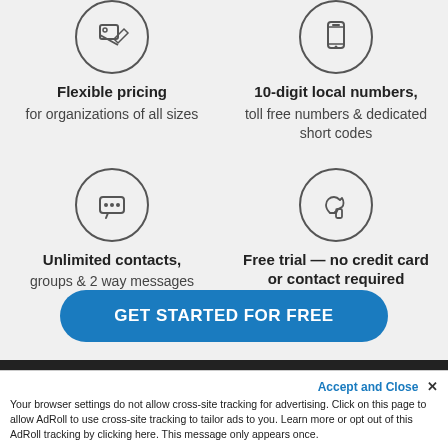[Figure (illustration): Icon of a price tag in a circle]
Flexible pricing
for organizations of all sizes
[Figure (illustration): Icon of a mobile phone in a circle]
10-digit local numbers, toll free numbers & dedicated short codes
[Figure (illustration): Icon of a speech bubble with dots in a circle]
Unlimited contacts, groups & 2 way messages
[Figure (illustration): Icon of a thumbs up in a circle]
Free trial — no credit card or contact required
GET STARTED FOR FREE
Accept and Close ✕
Your browser settings do not allow cross-site tracking for advertising. Click on this page to allow AdRoll to use cross-site tracking to tailor ads to you. Learn more or opt out of this AdRoll tracking by clicking here. This message only appears once.